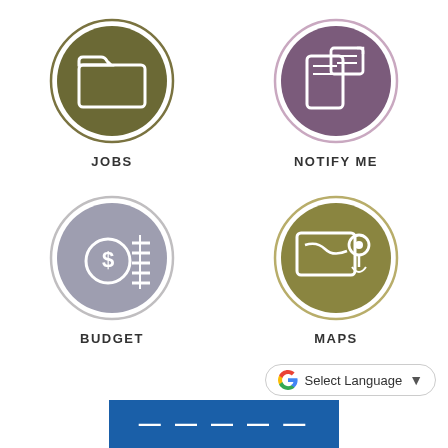[Figure (infographic): Four circular icon buttons arranged in a 2x2 grid: JOBS (olive/dark yellow circle with folder icon), NOTIFY ME (purple circle with mobile notification icon), BUDGET (gray circle with dollar coin icon), MAPS (olive circle with map/location icon)]
[Figure (infographic): Google Translate button with G logo and 'Select Language' text and dropdown arrow]
[Figure (infographic): Partial blue banner at bottom of page with white text showing partial organization name]